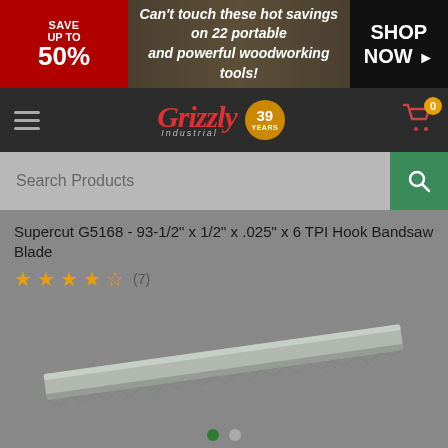[Figure (screenshot): Grizzly Industrial website banner ad: SAVE UP TO 50% on 22 portable and powerful woodworking tools, SHOP NOW button]
[Figure (logo): Grizzly Industrial logo with red italic text and 39 years gold badge]
[Figure (screenshot): Search Products bar with green search button]
Supercut G5168 - 93-1/2" x 1/2" x .025" x 6 TPI Hook Bandsaw Blade
★★★★☆ (7)
[Figure (photo): Photo of a long narrow bandsaw blade lying diagonally on a gray background]
Double Tap to Zoom